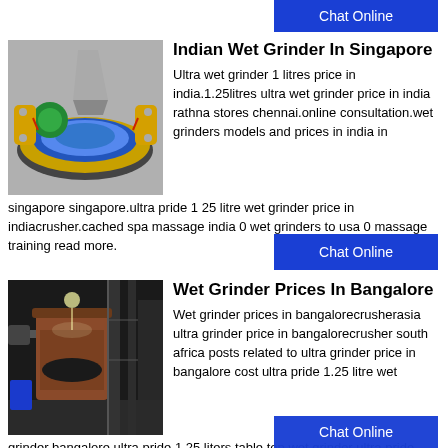[Figure (screenshot): Chat Online button at top right]
[Figure (illustration): 3D illustration of an Indian wet grinder machine with blue, green, yellow and gray components]
Indian Wet Grinder In Singapore
Ultra wet grinder 1 litres price in india.1.25litres ultra wet grinder price in india rathna stores chennai.online consultation.wet grinders models and prices in india in singapore singapore.ultra pride 1 25 litre wet grinder price in indiacrusher.cached spa massage india 0 wet grinders to usa 0 massage training read more.
[Figure (screenshot): Chat Online button]
[Figure (photo): Photo of an industrial wet grinder machine in a facility]
Wet Grinder Prices In Bangalore
Wet grinder prices in bangalorecrusherasia ultra grinder price in bangalorecrusher south africa posts related to ultra grinder price in bangalore cost ultra pride 1.25 litre wet grinder bangalore ultra pride 1.25 liters table top wet grinder ultra pride 1.25 liters table top wet grinderultra pride 1.25 litres
[Figure (screenshot): Chat Online button at bottom right (partially visible)]